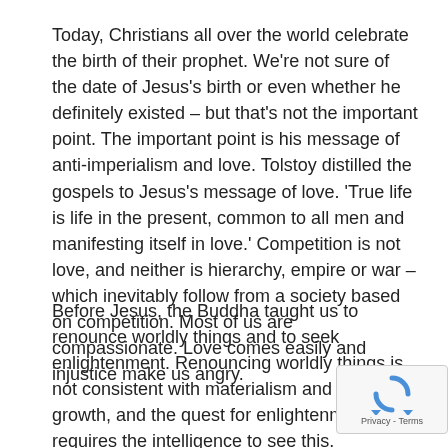Today, Christians all over the world celebrate the birth of their prophet. We're not sure of the date of Jesus's birth or even whether he definitely existed – but that's not the important point. The important point is his message of anti-imperialism and love. Tolstoy distilled the gospels to Jesus's message of love. 'True life is life in the present, common to all men and manifesting itself in love.' Competition is not love, and neither is hierarchy, empire or war – which inevitably follow from a society based on competition. Most of us are compassionate. Love comes easily and injustice make us angry.
Before Jesus, the Buddha taught us to renounce worldly things and to seek enlightenment. Renouncing worldly things is not consistent with materialism and perpetual growth, and the quest for enlightenment requires the intelligence to see this.
[Figure (other): reCAPTCHA badge with rotating arrows logo and Privacy - Terms text]